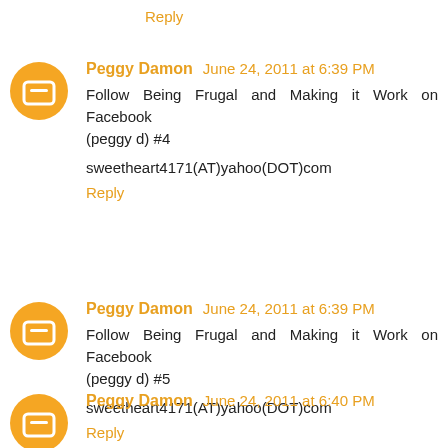Reply
Peggy Damon June 24, 2011 at 6:39 PM
Follow Being Frugal and Making it Work on Facebook (peggy d) #4

sweetheart4171(AT)yahoo(DOT)com
Reply
Peggy Damon June 24, 2011 at 6:39 PM
Follow Being Frugal and Making it Work on Facebook (peggy d) #5

sweetheart4171(AT)yahoo(DOT)com
Reply
Peggy Damon June 24, 2011 at 6:40 PM